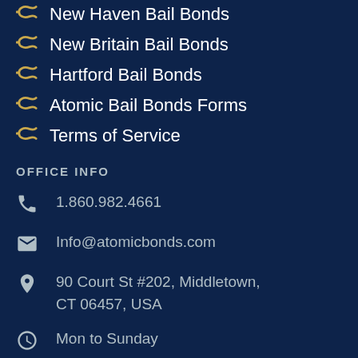New Haven Bail Bonds
New Britain Bail Bonds
Hartford Bail Bonds
Atomic Bail Bonds Forms
Terms of Service
OFFICE INFO
1.860.982.4661
Info@atomicbonds.com
90 Court St #202, Middletown, CT 06457, USA
Mon to Sunday